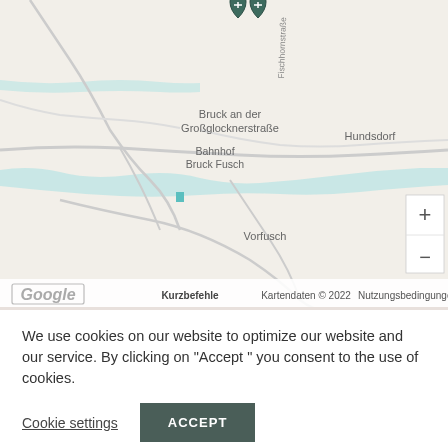[Figure (map): Google Maps screenshot showing area around Bruck an der Großglocknerstraße, Austria. Shows locations: Bruck an der Großglocknerstraße, Bahnhof Bruck Fusch, Hundsdorf, Vorfusch, Fischhornstraße. Map includes zoom controls (+/-) and Google branding at bottom with 'Kurzbefehle', 'Kartendaten © 2022', 'Nutzungsbedingungen'. Two dark map pins visible at top center.]
We use cookies on our website to optimize our website and our service. By clicking on "Accept " you consent to the use of cookies.
Cookie settings
ACCEPT